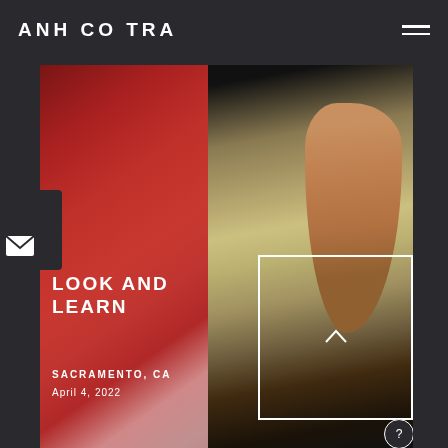ANH CO TRAN
[Figure (photo): Photo of a woman with half red-dyed hair and half natural blonde hair, shown in profile against a dark background. The red side is on the left, blonde on the right.]
LOOK AND LEARN
SACRAMENTO, CA
April 4, 2022